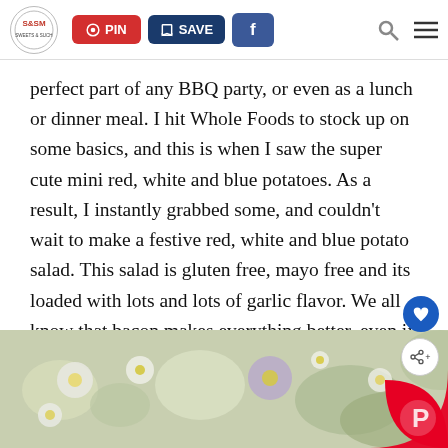[Figure (screenshot): Website header bar with S&SM logo circle, red PIN button, dark blue SAVE button, blue Facebook button, search icon, and hamburger menu icon]
perfect part of any BBQ party, or even as a lunch or dinner meal. I hit Whole Foods to stock up on some basics, and this is when I saw the super cute mini red, white and blue potatoes. As a result, I instantly grabbed some, and couldn't wait to make a festive red, white and blue potato salad. This salad is gluten free, mayo free and its loaded with lots and lots of garlic flavor. We all know that bacon makes everything better, even if you are a non bacon eater, please, let's still agree on this.
[Figure (photo): Bottom portion of a photo showing flowers — white daisies and purple flowers on a green background, with a Pinterest red circular logo partially visible at bottom right]